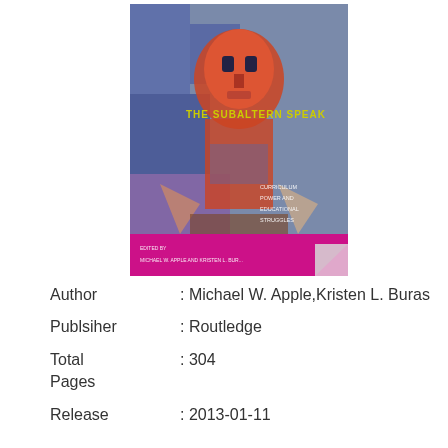[Figure (illustration): Book cover of 'The Subaltern Speak: Curriculum, Power, and Educational Struggles' edited by Michael W. Apple and Kristen L. Buras, published by Routledge. The cover features an abstract painting of a stylized human face in red, blue, and orange tones with geometric shapes. A magenta/purple banner runs across the bottom with the editors' names.]
Author : Michael W. Apple,Kristen L. Buras
Publsiher : Routledge
Total Pages : 304
Release : 2013-01-11